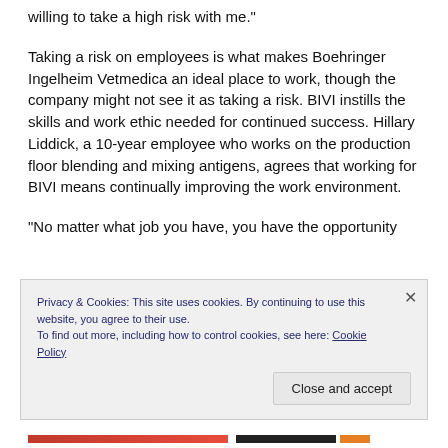willing to take a high risk with me.”
Taking a risk on employees is what makes Boehringer Ingelheim Vetmedica an ideal place to work, though the company might not see it as taking a risk. BIVI instills the skills and work ethic needed for continued success. Hillary Liddick, a 10-year employee who works on the production floor blending and mixing antigens, agrees that working for BIVI means continually improving the work environment.
“No matter what job you have, you have the opportunity
Privacy & Cookies: This site uses cookies. By continuing to use this website, you agree to their use.
To find out more, including how to control cookies, see here: Cookie Policy
Close and accept